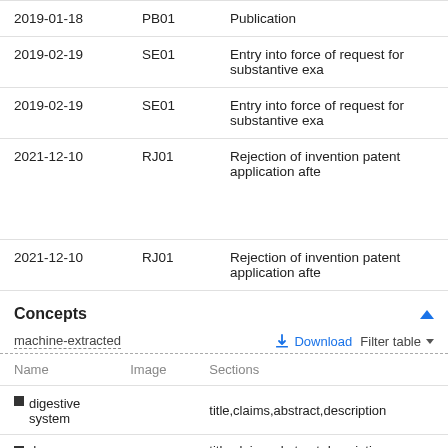| Date | Code | Description |
| --- | --- | --- |
| 2019-01-18 | PB01 | Publication |
| 2019-02-19 | SE01 | Entry into force of request for substantive exa |
| 2019-02-19 | SE01 | Entry into force of request for substantive exa |
| 2021-12-10 | RJ01 | Rejection of invention patent application afte |
| 2021-12-10 | RJ01 | Rejection of invention patent application afte |
Concepts
machine-extracted
| Name | Image | Sections |
| --- | --- | --- |
| ■ digestive system |  | title,claims,abstract,description |
| ■ drug |  | title,claims,abstract,description |